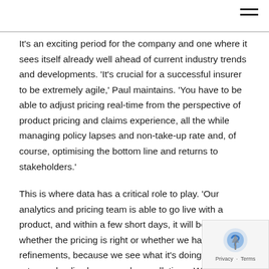It's an exciting period for the company and one where it sees itself already well ahead of current industry trends and developments. 'It's crucial for a successful insurer to be extremely agile,' Paul maintains. 'You have to be able to adjust pricing real-time from the perspective of product pricing and claims experience, all the while managing policy lapses and non-take-up rate and, of course, optimising the bottom line and returns to stakeholders.'
This is where data has a critical role to play. 'Our analytics and pricing team is able to go live with a product, and within a few short days, it will be clear whether the pricing is right or whether we have to make refinements, because we see what it's doing to unpaid rates and policy lapses and cancellations. We can dynamically price the portfolio based